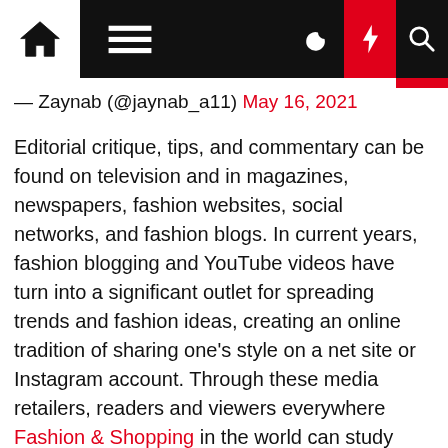Navigation bar with home, menu, moon, bolt, and search icons
— Zaynab (@jaynab_a11) May 16, 2021
Editorial critique, tips, and commentary can be found on television and in magazines, newspapers, fashion websites, social networks, and fashion blogs. In current years, fashion blogging and YouTube videos have turn into a significant outlet for spreading trends and fashion ideas, creating an online tradition of sharing one's style on a net site or Instagram account. Through these media retailers, readers and viewers everywhere Fashion & Shopping in the world can study fashion, making it very accessible. In addition to fashion journalism, one other media platform that's important in fashion trade is commercial. Advertisements present info to audiences and promote the sales of services. The fashion business makes use of commercials to